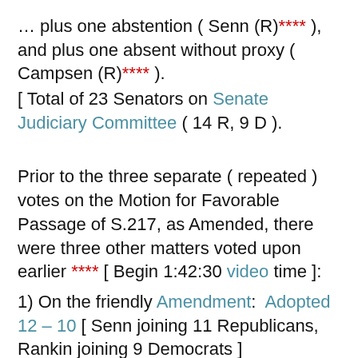… plus one abstention ( Senn (R)**** ), and plus one absent without proxy ( Campsen (R)**** ).
[ Total of 23 Senators on Senate Judiciary Committee ( 14 R, 9 D ).
Prior to the three separate ( repeated ) votes on the Motion for Favorable Passage of S.217, as Amended, there were three other matters voted upon earlier **** [ Begin 1:42:30 video time ]:
1) On the friendly Amendment:  Adopted 12 – 10 [ Senn joining 11 Republicans, Rankin joining 9 Democrats ]
2) On (Rice) Motion to Table the (Senn) Motion to